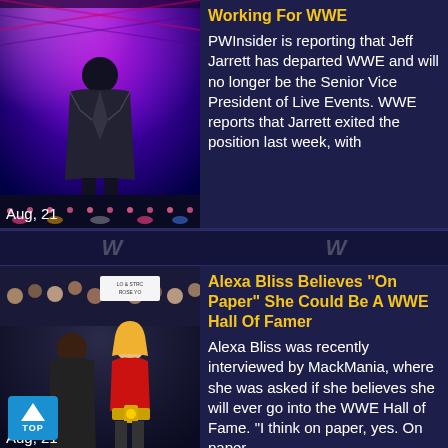[Figure (photo): Jeff Jarrett on WWE stage with purple and pink stage lighting]
Aug, 21
Working For WWE
PWInsider is reporting that Jeff Jarrett has departed WWE and will no longer be the Senior Vice President of Live Events. WWE reports that Jarrett exited the position last week, with
[Figure (photo): Alexa Bliss and another woman at a WWE event, Alexa wearing red ring gear with championship belt]
Aug, 21
Alexa Bliss Believes "On Paper" She Could Be A WWE Hall Of Famer
Alexa Bliss was recently interviewed by MackMania, where she was asked if she believes she will ever go into the WWE Hall of Fame. "I think on paper, yes. On paper,